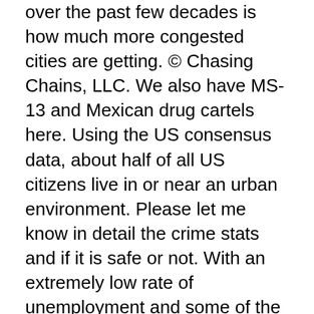over the past few decades is how much more congested cities are getting. © Chasing Chains, LLC. We also have MS-13 and Mexican drug cartels here. Using the US consensus data, about half of all US citizens live in or near an urban environment. Please let me know in detail the crime stats and if it is safe or not. With an extremely low rate of unemployment and some of the best job opportunities in the entire country, Raleigh is a great place to find work and put down roots. Favorite Answer. With a median household income of $69,000 compared with the median home price of $101,000, Monroe is a place that is very attractive to young families looking to start out in life. Population: 13,075Rank Last Year: 21 (Up 16)Violent Crimes Per 100k: 61 (10th safest)Property Crimes Per 100k: 367 (3rd safest)More on Rochester: Photos | Search Homes For Sale | Data | Detailed Crime Report. These are the safest places you can live in the state of Michigan based on FBI crime numbers. 10 /10. What's shocking is just how many do. But it's one thing to look at these maps and start dreaming of your climate condo in Michigan's